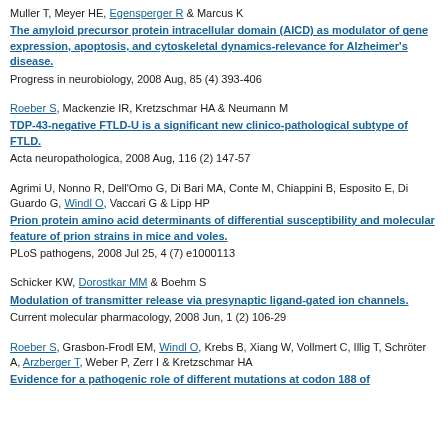Muller T, Meyer HE, Egensperger R & Marcus K
The amyloid precursor protein intracellular domain (AICD) as modulator of gene expression, apoptosis, and cytoskeletal dynamics-relevance for Alzheimer's disease.
Progress in neurobiology, 2008 Aug, 85 (4) 393-406
Roeber S, Mackenzie IR, Kretzschmar HA & Neumann M
TDP-43-negative FTLD-U is a significant new clinico-pathological subtype of FTLD.
Acta neuropathologica, 2008 Aug, 116 (2) 147-57
Agrimi U, Nonno R, Dell'Omo G, Di Bari MA, Conte M, Chiappini B, Esposito E, Di Guardo G, Windl O, Vaccari G & Lipp HP
Prion protein amino acid determinants of differential susceptibility and molecular feature of prion strains in mice and voles.
PLoS pathogens, 2008 Jul 25, 4 (7) e1000113
Schicker KW, Dorostkar MM & Boehm S
Modulation of transmitter release via presynaptic ligand-gated ion channels.
Current molecular pharmacology, 2008 Jun, 1 (2) 106-29
Roeber S, Grasbon-Frodl EM, Windl O, Krebs B, Xiang W, Vollmert C, Illig T, Schröter A, Arzberger T, Weber P, Zerr I & Kretzschmar HA
Evidence for a pathogenic role of different mutations at codon 188 of